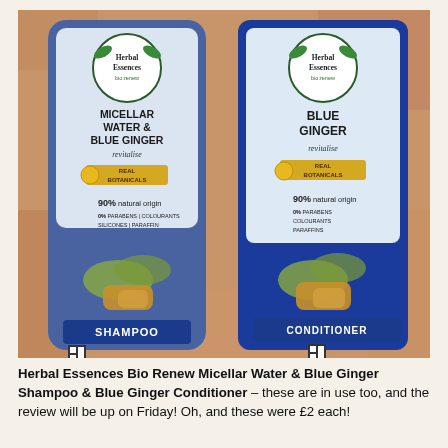[Figure (photo): Two Herbal Essences bio:renew bottles side by side against a rocky/stone background. Left bottle: Micellar Water & Blue Ginger Revitalise Shampoo, 90% natural origin, 0% parabens/colourants/silicones/paraffin, Real Botanicals. Right bottle: Blue Ginger Revitalise Conditioner, 90% natural origin, 0% parabens/colourants/paraffins, Real Botanicals. Both bottles are blue with white/gold labels.]
Herbal Essences Bio Renew Micellar Water & Blue Ginger Shampoo & Blue Ginger Conditioner – these are in use too, and the review will be up on Friday! Oh, and these were £2 each!